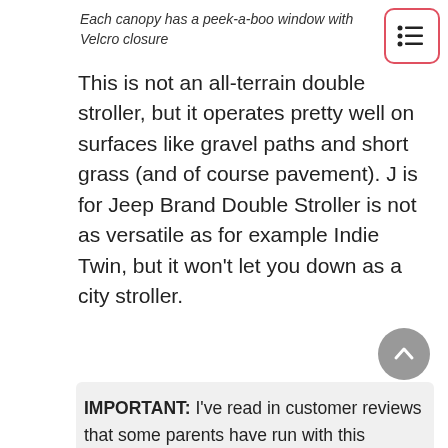Each canopy has a peek-a-boo window with Velcro closure
This is not an all-terrain double stroller, but it operates pretty well on surfaces like gravel paths and short grass (and of course pavement). J is for Jeep Brand Double Stroller is not as versatile as for example Indie Twin, but it won't let you down as a city stroller.
IMPORTANT: I've read in customer reviews that some parents have run with this stroller. Remember that it's not designed for jogging and it's not safe to run with it!
The stro...